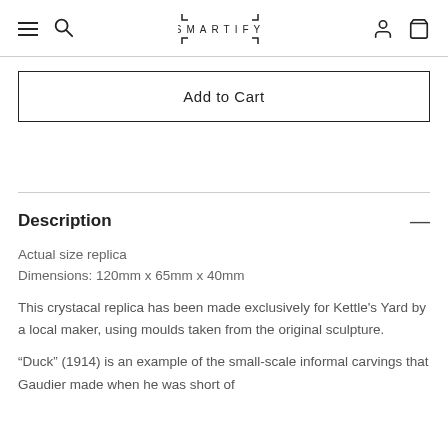SMARTIFY
Add to Cart
Description
Actual size replica
Dimensions: 120mm x 65mm x 40mm
This crystacal replica has been made exclusively for Kettle's Yard by a local maker, using moulds taken from the original sculpture.
“Duck” (1914) is an example of the small-scale informal carvings that Gaudier made when he was short of